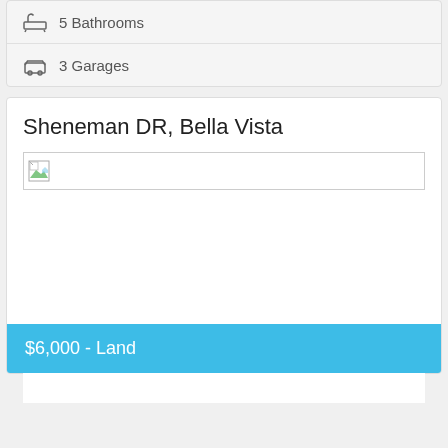5 Bathrooms
3 Garages
Sheneman DR, Bella Vista
[Figure (photo): Property listing image placeholder (broken image)]
$6,000 - Land